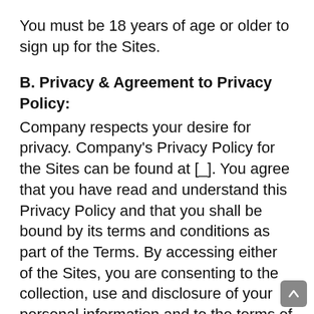You must be 18 years of age or older to sign up for the Sites.
B. Privacy & Agreement to Privacy Policy:
Company respects your desire for privacy. Company's Privacy Policy for the Sites can be found at [_]. You agree that you have read and understand this Privacy Policy and that you shall be bound by its terms and conditions as part of the Terms. By accessing either of the Sites, you are consenting to the collection, use and disclosure of your personal information and to the terms of our Privacy Policy. If we decide to change that Privacy Policy, we will post the revised policy prominently on the Sites or otherwise bring it to your attention, so that you are always